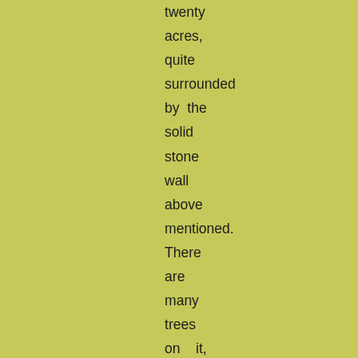twenty acres, quite surrounded by the solid stone wall above mentioned. There are many trees on it, which make it in places